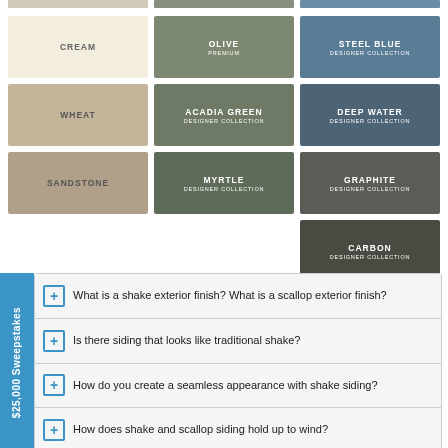[Figure (infographic): Color swatch grid showing paint/siding color options. Top partial row (cropped). Row 1: Cream (light beige), Olive (PREMIUM, olive green), Steel Blue (DESIGNER COLLECTION, steel blue). Row 2: Wheat (tan), Acadia Green (DESIGNER COLLECTION, sage green), Deep Water (DESIGNER COLLECTION, dark blue-grey). Row 3: Sandstone (warm tan), Myrtle (DESIGNER COLLECTION, dark sage), Graphite (DESIGNER COLLECTION, dark grey-green). Row 4 (right column only): Carbon (DESIGNER COLLECTION, very dark grey).]
What is a shake exterior finish? What is a scallop exterior finish?
Is there siding that looks like traditional shake?
How do you create a seamless appearance with shake siding?
How does shake and scallop siding hold up to wind?